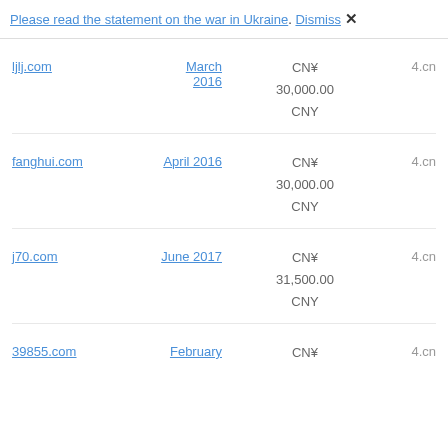Please read the statement on the war in Ukraine. Dismiss ×
| Domain | Date | Price | Source |
| --- | --- | --- | --- |
| ljlj.com | March 2016 | CN¥ 30,000.00 CNY | 4.cn |
| fanghui.com | April 2016 | CN¥ 30,000.00 CNY | 4.cn |
| j70.com | June 2017 | CN¥ 31,500.00 CNY | 4.cn |
| 39855.com | February | CN¥ | 4.cn |